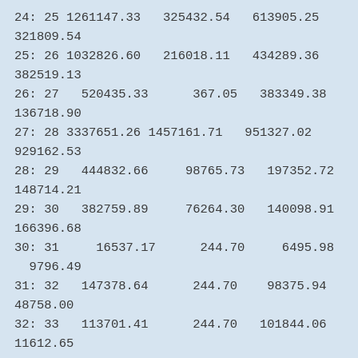| 24: 25 | 1261147.33 | 325432.54 | 613905.25 |
|  | 321809.54 |  |  |
| 25: 26 | 1032826.60 | 216018.11 | 434289.36 |
|  | 382519.13 |  |  |
| 26: 27 | 520435.33 | 367.05 | 383349.38 |
|  | 136718.90 |  |  |
| 27: 28 | 3337651.26 | 1457161.71 | 951327.02 |
|  | 929162.53 |  |  |
| 28: 29 | 444832.66 | 98765.73 | 197352.72 |
|  | 148714.21 |  |  |
| 29: 30 | 382759.89 | 76264.30 | 140098.91 |
|  | 166396.68 |  |  |
| 30: 31 | 16537.17 | 244.70 | 6495.98 |
|  | 9796.49 |  |  |
| 31: 32 | 147378.64 | 244.70 | 98375.94 |
|  | 48758.00 |  |  |
| 32: 33 | 113701.41 | 244.70 | 101844.06 |
|  | 11612.65 |  |  |
| 33: 34 | 197437.10 | 244.70 | 193342.40 |
|  | 3850.00 |  |  |
| 34: 35 | 150951.51 | 244.70 | 88300.83 |